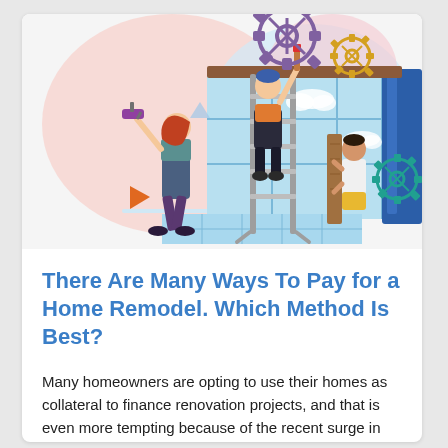[Figure (illustration): Colorful flat illustration of home remodeling scene: a person on a ladder painting with a brush, a woman using a paint roller, a child holding a wooden plank, large windows, gears, clouds, and decorative shapes in pink, blue, and teal.]
There Are Many Ways To Pay for a Home Remodel. Which Method Is Best?
Many homeowners are opting to use their homes as collateral to finance renovation projects, and that is even more tempting because of the recent surge in tappable